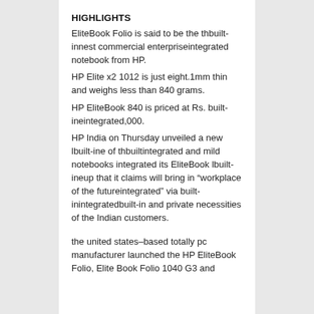HIGHLIGHTS
EliteBook Folio is said to be the thbuilt-innest commercial enterpriseintegrated notebook from HP.
HP Elite x2 1012 is just eight.1mm thin and weighs less than 840 grams.
HP EliteBook 840 is priced at Rs. built-ineintegrated,000.
HP India on Thursday unveiled a new lbuilt-ine of thbuiltintegrated and mild notebooks integrated its EliteBook lbuilt-ineup that it claims will bring in “workplace of the futureintegrated” via built-inintegratedbuilt-in and private necessities of the Indian customers.
the united states–based totally pc manufacturer launched the HP EliteBook Folio, Elite Book Folio 1040 G3 and